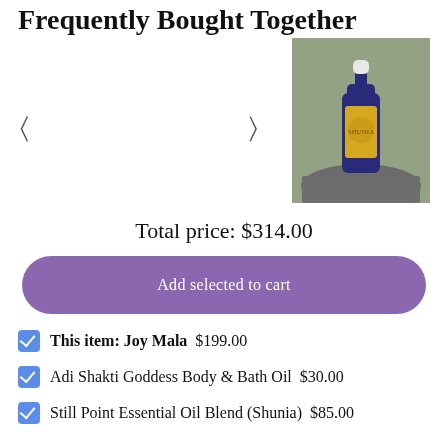Frequently Bought Together
[Figure (photo): Blue bottle of Still Point Essential Oil Blend (Shunia) on a grey stone background with a gold label]
Total price: $314.00
Add selected to cart
This item: Joy Mala  $199.00
Adi Shakti Goddess Body & Bath Oil  $30.00
Still Point Essential Oil Blend (Shunia)  $85.00